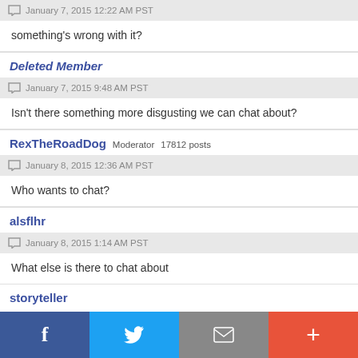January 7, 2015 12:22 AM PST
something's wrong with it?
Deleted Member
January 7, 2015 9:48 AM PST
Isn't there something more disgusting we can chat about?
RexTheRoadDog Moderator 17812 posts
January 8, 2015 12:36 AM PST
Who wants to chat?
alsflhr
January 8, 2015 1:14 AM PST
What else is there to chat about
storyteller (partial, cut off)